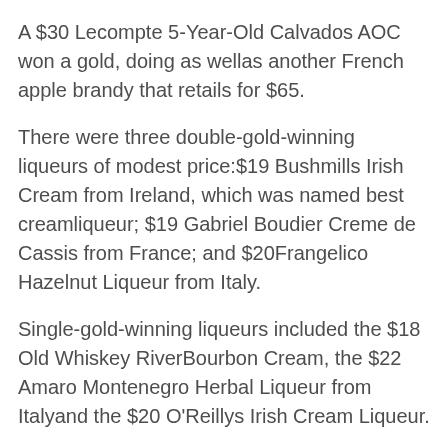A $30 Lecompte 5-Year-Old Calvados AOC won a gold, doing as wellas another French apple brandy that retails for $65.
There were three double-gold-winning liqueurs of modest price:$19 Bushmills Irish Cream from Ireland, which was named best creamliqueur; $19 Gabriel Boudier Creme de Cassis from France; and $20Frangelico Hazelnut Liqueur from Italy.
Single-gold-winning liqueurs included the $18 Old Whiskey RiverBourbon Cream, the $22 Amaro Montenegro Herbal Liqueur from Italyand the $20 O'Reillys Irish Cream Liqueur.
You get a clear idea of just how cheap it really